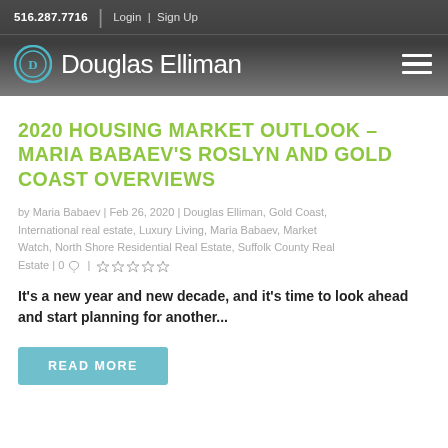516.287.7716 | Login | Sign Up
[Figure (logo): Douglas Elliman real estate company logo with circular icon and brand name]
2020 HOUSING MARKET OUTLOOK – MARIA BABAEV'S ROSLYN AND GOLD COAST OVERVIEWS
by Maria Babaev | Feb 26, 2020 | Douglas Elliman, Gold Coast, International real estate, Luxury Living, Maria Babaev, Market Watch, North Shore Residential Real Estate, Suffolk County Real Estate | 0 💬 | ★☆☆☆☆
It's a new year and new decade, and it's time to look ahead and start planning for another...
READ MORE